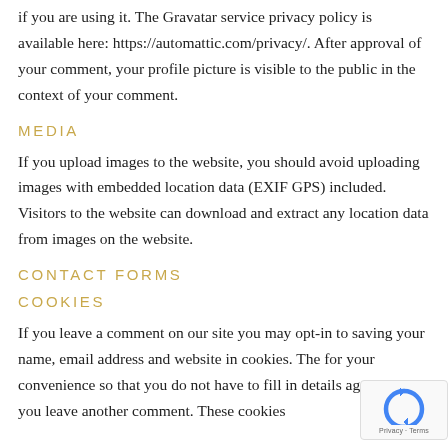if you are using it. The Gravatar service privacy policy is available here: https://automattic.com/privacy/. After approval of your comment, your profile picture is visible to the public in the context of your comment.
MEDIA
If you upload images to the website, you should avoid uploading images with embedded location data (EXIF GPS) included. Visitors to the website can download and extract any location data from images on the website.
CONTACT FORMS
COOKIES
If you leave a comment on our site you may opt-in to saving your name, email address and website in cookies. The for your convenience so that you do not have to fill in details again when you leave another comment. These cookies